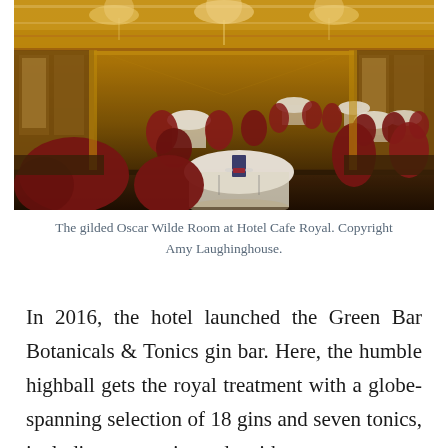[Figure (photo): Interior of the gilded Oscar Wilde Room at Hotel Cafe Royal, showing ornate gold ceiling, tall mirrored walls with decorative columns, warm lighting chandeliers, and tables set with white tablecloths and red/crimson upholstered chairs arranged throughout a long elegant dining room.]
The gilded Oscar Wilde Room at Hotel Cafe Royal. Copyright Amy Laughinghouse.
In 2016, the hotel launched the Green Bar Botanicals & Tonics gin bar. Here, the humble highball gets the royal treatment with a globe-spanning selection of 18 gins and seven tonics, including one tonic made with